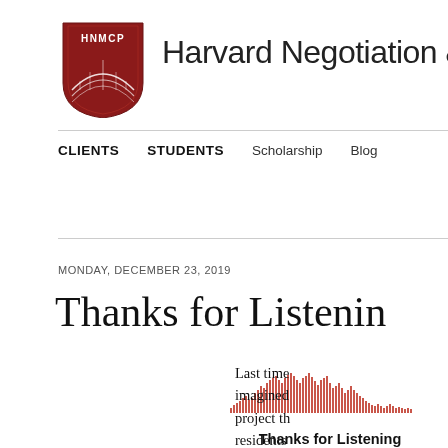[Figure (logo): HNMCP shield logo — dark red/maroon shield with 'HNMCP' text and a bridge graphic]
Harvard Negotiation &
CLIENTS   STUDENTS   Scholarship   Blog
MONDAY, DECEMBER 23, 2019
Thanks for Listenin
[Figure (illustration): Podcast waveform/audio visualization in red/pink tones with text 'Thanks for Listening' below]
Last time imagined project th residents Leverett w